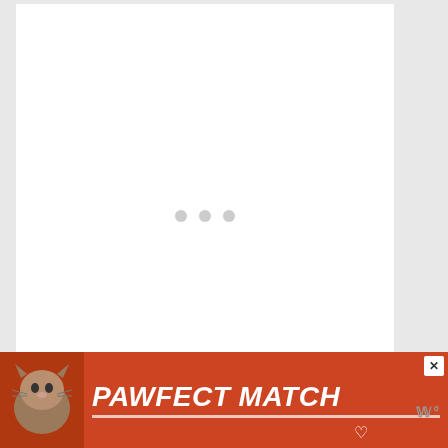[Figure (other): Loading placeholder with three small grey dots centered in a white card area]
However, there are many people having success with it.
[Figure (other): Advertisement banner: PAWFECT MATCH with cat image on red/orange background, close button, and heart icon]